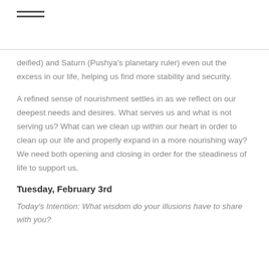≡
deified) and Saturn (Pushya's planetary ruler) even out the excess in our life, helping us find more stability and security.
A refined sense of nourishment settles in as we reflect on our deepest needs and desires. What serves us and what is not serving us? What can we clean up within our heart in order to clean up our life and properly expand in a more nourishing way? We need both opening and closing in order for the steadiness of life to support us.
Tuesday, February 3rd
Today's Intention: What wisdom do your illusions have to share with you?